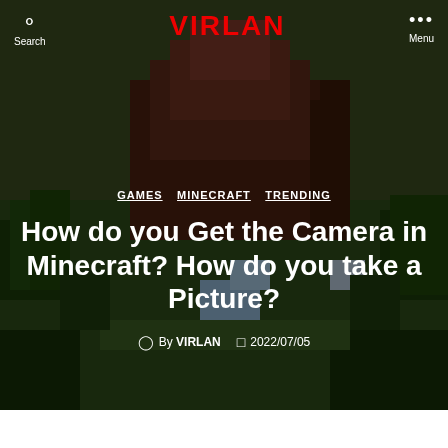VIRLAN
[Figure (screenshot): Minecraft isometric scene showing a large dark wood/brick building structure surrounded by green trees and terrain, serving as the hero background image for a VIRLAN article.]
How do you Get the Camera in Minecraft? How do you take a Picture?
GAMES   MINECRAFT   TRENDING
By VIRLAN   2022/07/05